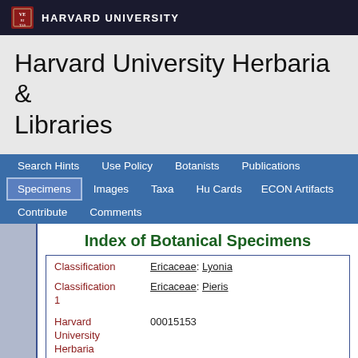HARVARD UNIVERSITY
Harvard University Herbaria & Libraries
Search Hints  Use Policy  Botanists  Publications  Specimens  Images  Taxa  Hu Cards  ECON Artifacts  Contribute  Comments
Index of Botanical Specimens
| Field | Value |
| --- | --- |
| Classification | Ericaceae: Lyonia |
| Classification 1 | Ericaceae: Pieris |
| Harvard University Herbaria Barcode(s) | 00015153 |
| Type Status | Isotype |
| Collector | F. A. McClure |
| Collector | 9380 |